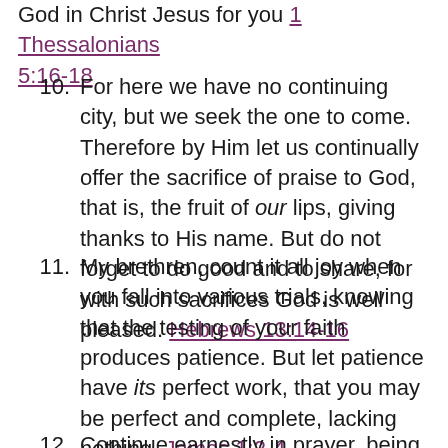(partial, top of page) God in Christ Jesus for you 1 Thessalonians 5:16-18
10. For here we have no continuing city, but we seek the one to come. Therefore by Him let us continually offer the sacrifice of praise to God, that is, the fruit of our lips, giving thanks to His name. But do not forget to do good and to share, for with such sacrifices God is well pleased. Hebrews 13:14-16
11. My brethren, count it all joy when you fall into various trials, knowing that the testing of your faith produces patience. But let patience have its perfect work, that you may be perfect and complete, lacking nothing. James 1:2-4
12. Continue earnestly in prayer, being vigilant